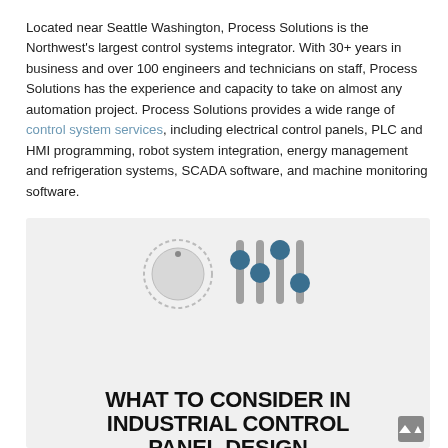Located near Seattle Washington, Process Solutions is the Northwest's largest control systems integrator. With 30+ years in business and over 100 engineers and technicians on staff, Process Solutions has the experience and capacity to take on almost any automation project. Process Solutions provides a wide range of control system services, including electrical control panels, PLC and HMI programming, robot system integration, energy management and refrigeration systems, SCADA software, and machine monitoring software.
[Figure (infographic): Infographic titled 'WHAT TO CONSIDER IN INDUSTRIAL CONTROL PANEL DESIGN' on a light grey background with icons of a dial/knob and sliders at the top, and a section labelled 'PANEL LAYOUT AND DESIGN' with a lightning bolt icon and introductory text below.]